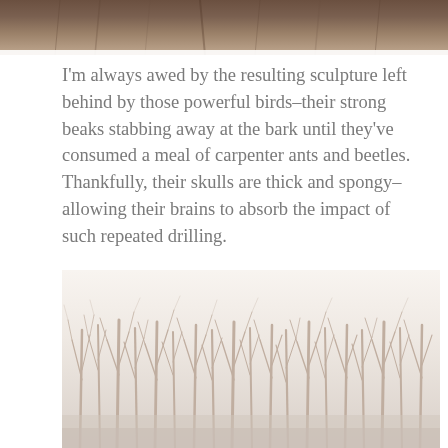[Figure (photo): Partial photo at top of page showing what appears to be a bird or animal against bark/natural texture, cropped at the top edge]
I'm always awed by the resulting sculpture left behind by those powerful birds–their strong beaks stabbing away at the bark until they've consumed a meal of carpenter ants and beetles. Thankfully, their skulls are thick and spongy–allowing their brains to absorb the impact of such repeated drilling.
[Figure (photo): Photo of a dense stand of bare winter trees with thin white/brown trunks and branches against a light gray-white sky, suggesting aspen or birch trees in winter]